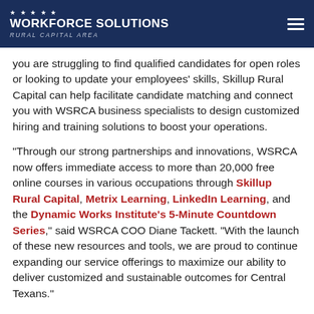Workforce Solutions Rural Capital Area
you are struggling to find qualified candidates for open roles or looking to update your employees' skills, Skillup Rural Capital can help facilitate candidate matching and connect you with WSRCA business specialists to design customized hiring and training solutions to boost your operations.
“Through our strong partnerships and innovations, WSRCA now offers immediate access to more than 20,000 free online courses in various occupations through Skillup Rural Capital, Metrix Learning, LinkedIn Learning, and the Dynamic Works Institute’s 5-Minute Countdown Series,” said WSRCA COO Diane Tackett. “With the launch of these new resources and tools, we are proud to continue expanding our service offerings to maximize our ability to deliver customized and sustainable outcomes for Central Texans.”
The WSRCA team is eager to help all Central Texans find workforce solutions. All Rural Capital Area career centers are open and accepting appointments across the nine-county region to empower your workforce journey. Services continue to remain available virtually to meet your immediate workforce needs. For more information on these new resources, tools, and training